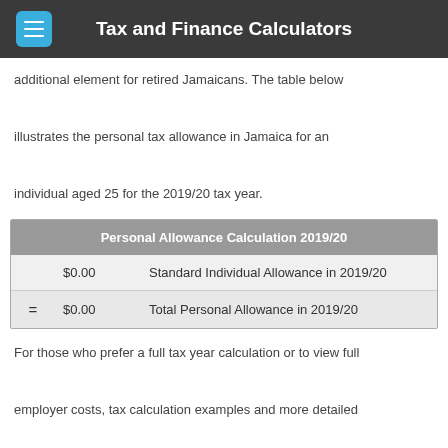Tax and Finance Calculators
additional element for retired Jamaicans. The table below illustrates the personal tax allowance in Jamaica for an individual aged 25 for the 2019/20 tax year.
| Personal Allowance Calculation 2019/20 |
| --- |
|  | $0.00 | Standard Individual Allowance in 2019/20 |
| = | $0.00 | Total Personal Allowance in 2019/20 |
For those who prefer a full tax year calculation or to view full employer costs, tax calculation examples and more detailed outputs, use the Jamaica Tax Calculator where you can choose the type of calculation output you wish to view.